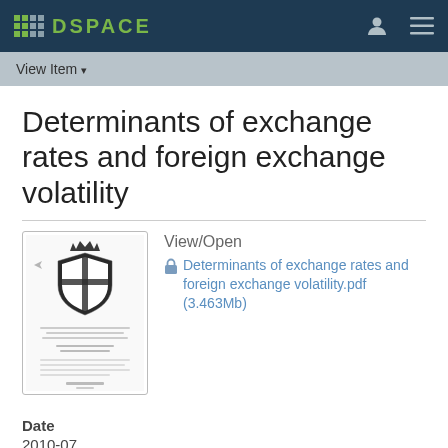DSpace
View Item
Determinants of exchange rates and foreign exchange volatility
[Figure (other): Thumbnail preview of the PDF document showing a title page with a coat of arms or crest logo and text content]
View/Open
Determinants of exchange rates and foreign exchange volatility.pdf (3.463Mb)
Date
2010-07